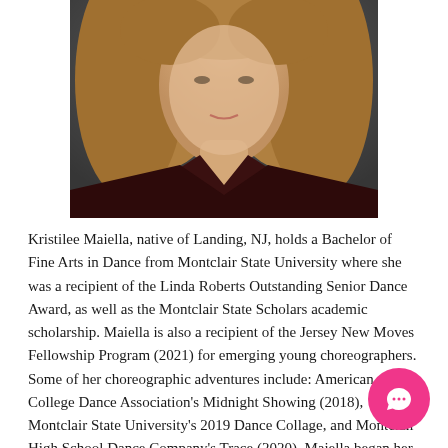[Figure (photo): Headshot photo of Kristilee Maiella, a young woman with light brown hair, wearing a dark maroon v-neck top, photographed against a dark background.]
Kristilee Maiella, native of Landing, NJ, holds a Bachelor of Fine Arts in Dance from Montclair State University where she was a recipient of the Linda Roberts Outstanding Senior Dance Award, as well as the Montclair State Scholars academic scholarship. Maiella is also a recipient of the Jersey New Moves Fellowship Program (2021) for emerging young choreographers. Some of her choreographic adventures include: American College Dance Association's Midnight Showing (2018), Montclair State University's 2019 Dance Collage, and Montclair High School Dance Company's Trace (2020). Maiella began her early dance education at a competition dance studio, where she trained in both classical and commercial styles of dance. She has performed from her beginnings in the...